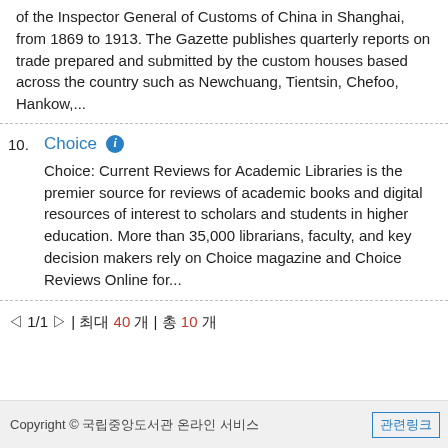of the Inspector General of Customs of China in Shanghai, from 1869 to 1913. The Gazette publishes quarterly reports on trade prepared and submitted by the custom houses based across the country such as Newchuang, Tientsin, Chefoo, Hankow,...
10. Choice — Choice: Current Reviews for Academic Libraries is the premier source for reviews of academic books and digital resources of interest to scholars and students in higher education. More than 35,000 librarians, faculty, and key decision makers rely on Choice magazine and Choice Reviews Online for...
◁ 1/1 ▷ | 최대 40 개 | 총 10 개
Copyright © 국립중앙도서관 온라인 서비스 / 관련링크